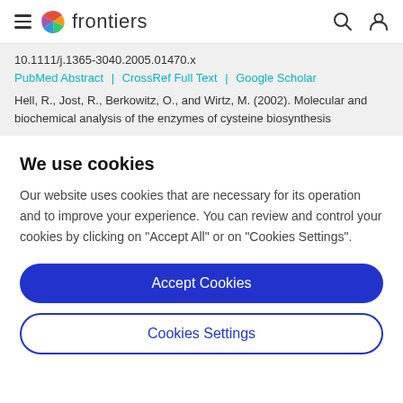frontiers
10.1111/j.1365-3040.2005.01470.x
PubMed Abstract | CrossRef Full Text | Google Scholar
Hell, R., Jost, R., Berkowitz, O., and Wirtz, M. (2002). Molecular and biochemical analysis of the enzymes of cysteine biosynthesis
We use cookies
Our website uses cookies that are necessary for its operation and to improve your experience. You can review and control your cookies by clicking on "Accept All" or on "Cookies Settings".
Accept Cookies
Cookies Settings